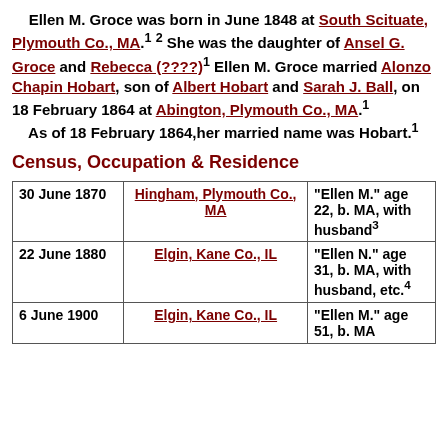Ellen M. Groce was born in June 1848 at South Scituate, Plymouth Co., MA.1 2 She was the daughter of Ansel G. Groce and Rebecca (????)1 Ellen M. Groce married Alonzo Chapin Hobart, son of Albert Hobart and Sarah J. Ball, on 18 February 1864 at Abington, Plymouth Co., MA.1 As of 18 February 1864,her married name was Hobart.1
Census, Occupation & Residence
|  |  |  |
| --- | --- | --- |
| 30 June 1870 | Hingham, Plymouth Co., MA | "Ellen M." age 22, b. MA, with husband3 |
| 22 June 1880 | Elgin, Kane Co., IL | "Ellen N." age 31, b. MA, with husband, etc.4 |
| 6 June 1900 | Elgin, Kane Co., IL | "Ellen M." age 51, b. MA |